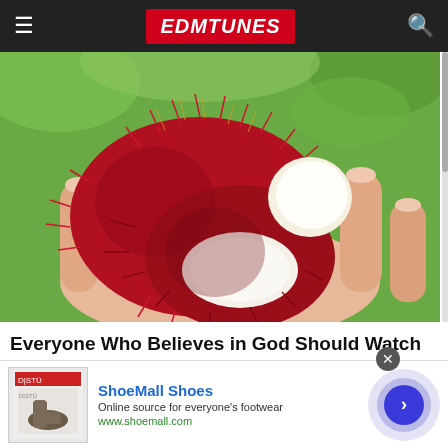EDMTUNES
[Figure (photo): A hand holding opened rambutan fruit showing white flesh inside, with red spiky exterior, green foliage background.]
Everyone Who Believes in God Should Watch This
Exodus Effect
[Figure (other): ShoeMall Shoes advertisement banner with shoe image, brand name in blue, description 'Online source for everyone's footwear', URL www.shoemall.com, and circular arrow button.]